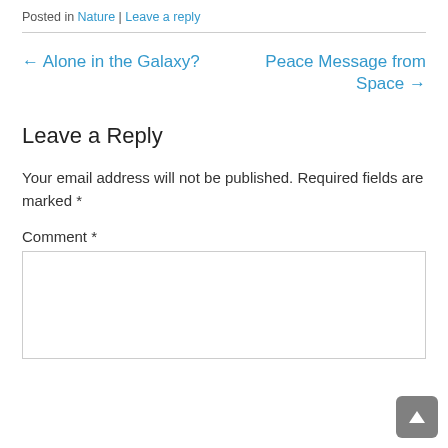Posted in Nature | Leave a reply
← Alone in the Galaxy?
Peace Message from Space →
Leave a Reply
Your email address will not be published. Required fields are marked *
Comment *